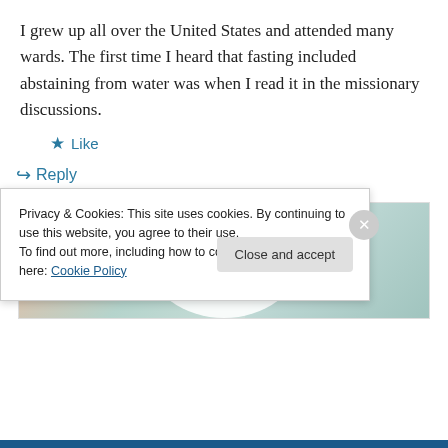I grew up all over the United States and attended many wards. The first time I heard that fasting included abstaining from water was when I read it in the missionary discussions.
★ Like
↪ Reply
[Figure (infographic): Advertisement banner for WordPress VIP 'Important Content' with a Learn more button, on a background of pastel-colored decorative items.]
Privacy & Cookies: This site uses cookies. By continuing to use this website, you agree to their use.
To find out more, including how to control cookies, see here: Cookie Policy
Close and accept